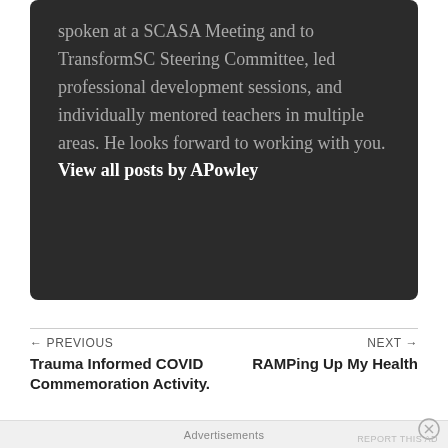spoken at a SCASA Meeting and to TransformSC Steering Committee, led professional development sessions, and individually mentored teachers in multiple areas. He looks forward to working with you. View all posts by APowley
← PREVIOUS
Trauma Informed COVID Commemoration Activity.
NEXT →
RAMPing Up My Health
Advertisements
REPORT THIS AD